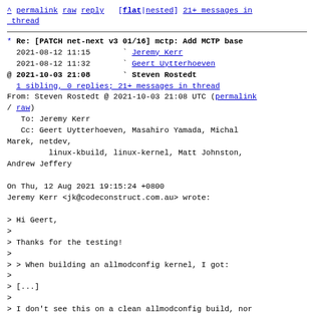^ permalink raw reply [flat|nested] 21+ messages in thread
* Re: [PATCH net-next v3 01/16] mctp: Add MCTP base
  2021-08-12 11:15       ` Jeremy Kerr
  2021-08-12 11:32       ` Geert Uytterhoeven
@ 2021-10-03 21:08       ` Steven Rostedt
  1 sibling, 0 replies; 21+ messages in thread
From: Steven Rostedt @ 2021-10-03 21:08 UTC (permalink / raw)
   To: Jeremy Kerr
   Cc: Geert Uytterhoeven, Masahiro Yamada, Michal Marek, netdev,
         linux-kbuild, linux-kernel, Matt Johnston, Andrew Jeffery

On Thu, 12 Aug 2021 19:15:24 +0800
Jeremy Kerr <jk@codeconstruct.com.au> wrote:

> Hi Geert,
>
> Thanks for the testing!
>
> > When building an allmodconfig kernel, I got:
>
> [...]
>
> I don't see this on a clean allmodconfig build, nor when building the